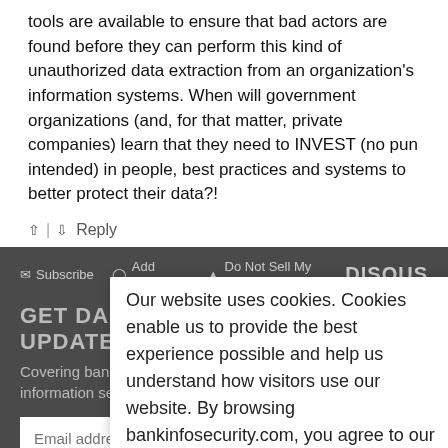tools are available to ensure that bad actors are found before they can perform this kind of unauthorized data extraction from an organization's information systems. When will government organizations (and, for that matter, private companies) learn that they need to INVEST (no pun intended) in people, best practices and systems to better protect their data?!
↑ | ↓  Reply
✉ Subscribe  ● Add Disqus  ▲ Do Not Sell My Data  DISQUS
GET DAILY BANK INFO SECURITY UPDATES
Covering bank management, compliance, fraud, and information security.
Email address  Submit
By submitting this form you agree to our Privacy & GDPR Statement.
Our website uses cookies. Cookies enable us to provide the best experience possible and help us understand how visitors use our website. By browsing bankinfosecurity.com, you agree to our use of cookies.